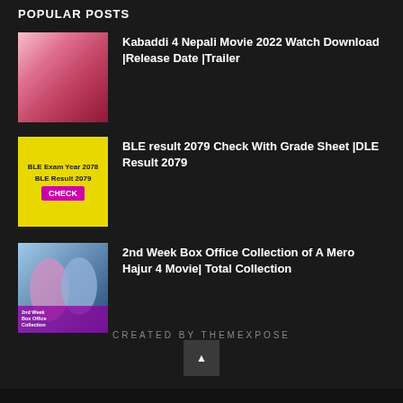POPULAR POSTS
Kabaddi 4 Nepali Movie 2022 Watch Download |Release Date |Trailer
BLE result 2079 Check With Grade Sheet |DLE Result 2079
2nd Week Box Office Collection of A Mero Hajur 4 Movie| Total Collection
CREATED BY THEMEXPOSE